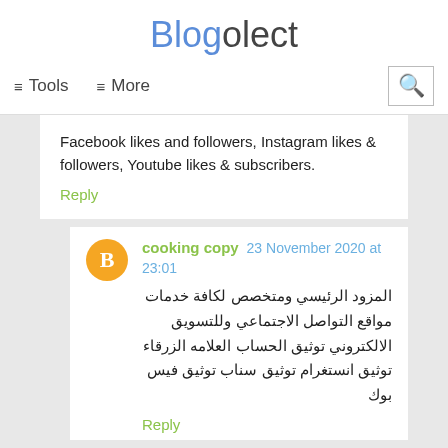Blogolect
≡ Tools   ≡ More
Facebook likes and followers, Instagram likes & followers, Youtube likes & subscribers.
Reply
cooking copy  23 November 2020 at 23:01
المزود الرئيسي ومتخصص لكافة خدمات مواقع التواصل الاجتماعي وللتسويق الالكتروني توثيق الحساب العلامه الزرقاء توثيق انستغرام توثيق سناب توثيق فيس بوك
Reply